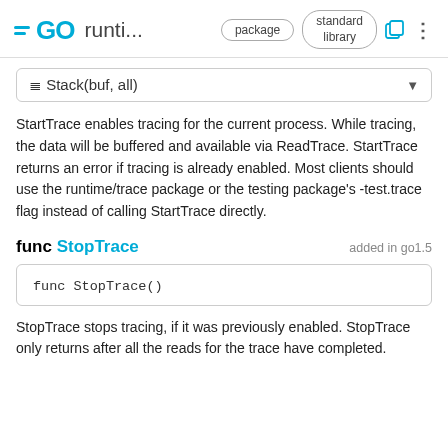GO runti... package standard library
≡ Stack(buf, all)
StartTrace enables tracing for the current process. While tracing, the data will be buffered and available via ReadTrace. StartTrace returns an error if tracing is already enabled. Most clients should use the runtime/trace package or the testing package's -test.trace flag instead of calling StartTrace directly.
func StopTrace  added in go1.5
func StopTrace()
StopTrace stops tracing, if it was previously enabled. StopTrace only returns after all the reads for the trace have completed.